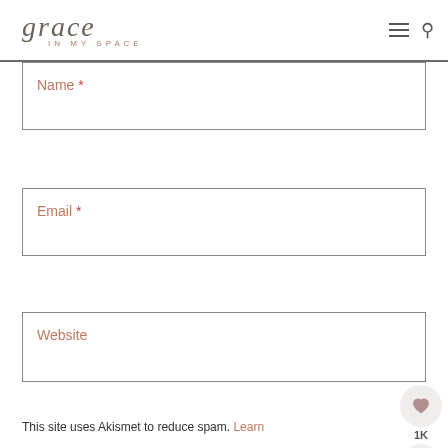grace IN MY SPACE
Name *
Email *
Website
POST COMMENT
This site uses Akismet to reduce spam. Learn